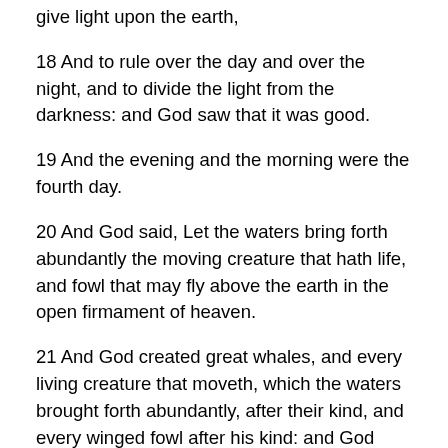give light upon the earth,
18 And to rule over the day and over the night, and to divide the light from the darkness: and God saw that it was good.
19 And the evening and the morning were the fourth day.
20 And God said, Let the waters bring forth abundantly the moving creature that hath life, and fowl that may fly above the earth in the open firmament of heaven.
21 And God created great whales, and every living creature that moveth, which the waters brought forth abundantly, after their kind, and every winged fowl after his kind: and God saw that it was good.
22 And God blessed them, saying, Be fruitful, and multiply, and fill the waters in the seas, and let fowl multiply in the